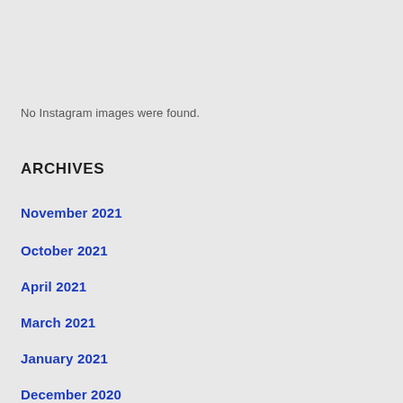No Instagram images were found.
ARCHIVES
November 2021
October 2021
April 2021
March 2021
January 2021
December 2020